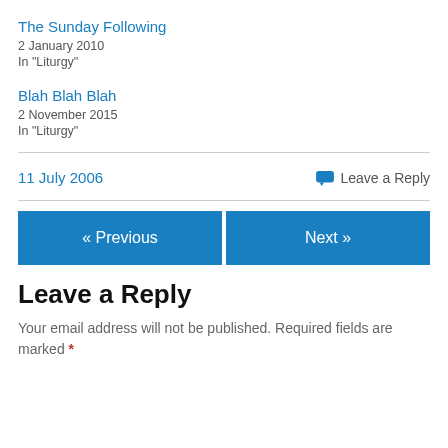The Sunday Following
2 January 2010
In "Liturgy"
Blah Blah Blah
2 November 2015
In "Liturgy"
11 July 2006
Leave a Reply
« Previous
Next »
Leave a Reply
Your email address will not be published. Required fields are marked *